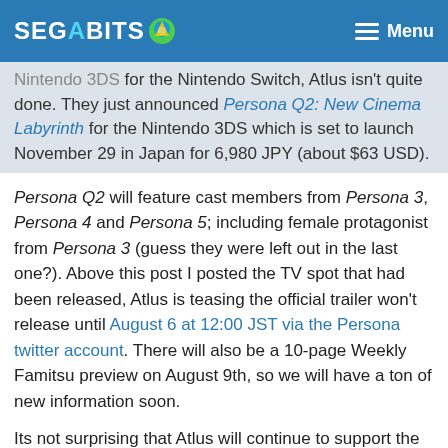SEGABITS [Menu]
Nintendo 3DS for the Nintendo Switch, Atlus isn't quite done. They just announced Persona Q2: New Cinema Labyrinth for the Nintendo 3DS which is set to launch November 29 in Japan for 6,980 JPY (about $63 USD).
Persona Q2 will feature cast members from Persona 3, Persona 4 and Persona 5; including female protagonist from Persona 3 (guess they were left out in the last one?). Above this post I posted the TV spot that had been released, Atlus is teasing the official trailer won't release until August 6 at 12:00 JST via the Persona twitter account. There will also be a 10-page Weekly Famitsu preview on August 9th, so we will have a ton of new information soon.
Its not surprising that Atlus will continue to support the Nintendo 3DS, they also supported the PlayStation Vita for a long time after Sony abandoned it.
[Source: Gematsu]